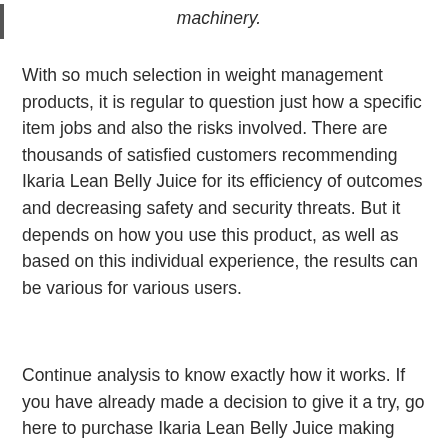machinery.
With so much selection in weight management products, it is regular to question just how a specific item jobs and also the risks involved. There are thousands of satisfied customers recommending Ikaria Lean Belly Juice for its efficiency of outcomes and decreasing safety and security threats. But it depends on how you use this product, as well as based on this individual experience, the results can be various for various users.
Continue analysis to know exactly how it works. If you have already made a decision to give it a try, go here to purchase Ikaria Lean Belly Juice making